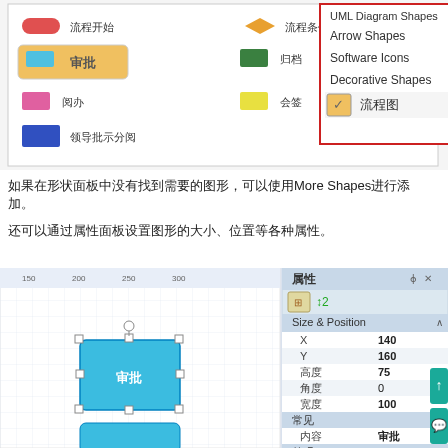[Figure (screenshot): Screenshot of a flowchart editor showing shape legend on the left (流程开始, 审批, 阅办, 领导批示分阅, 流程条件, 归档, 会签) and a dropdown menu on the right listing Arrow Shapes, Software Icons, Decorative Shapes, 流程图 (checked).]
如果在形状面板中没有找到需要的图形，可以使用More Shapes进行添加。
还可以通过属性面板设置图形的大小、位置等各种属性。
[Figure (screenshot): Screenshot of a flowchart editor showing a selected 审批 shape in the canvas with a properties panel on the right displaying Size & Position (X:140, Y:160, 高度:75, 角度:0, 宽度:100), 常见 (内容:审批), and 外观 (Stroke Style).]